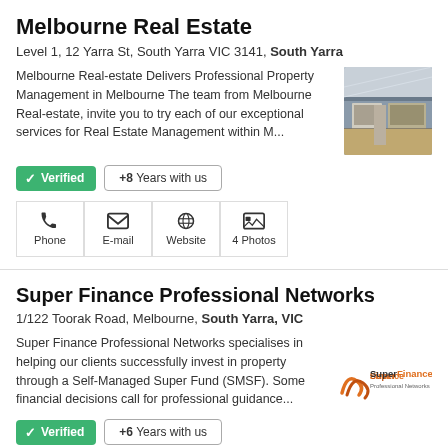Melbourne Real Estate
Level 1, 12 Yarra St, South Yarra VIC 3141, South Yarra
Melbourne Real-estate Delivers Professional Property Management in Melbourne The team from Melbourne Real-estate, invite you to try each of our exceptional services for Real Estate Management within M...
[Figure (photo): Interior photo of a modern kitchen/office space]
Verified  +8 Years with us
Phone  E-mail  Website  4 Photos
Super Finance Professional Networks
1/122 Toorak Road, Melbourne, South Yarra, VIC
Super Finance Professional Networks specialises in helping our clients successfully invest in property through a Self-Managed Super Fund (SMSF). Some financial decisions call for professional guidance...
[Figure (logo): Super Finance Professional Networks logo]
Verified  +6 Years with us